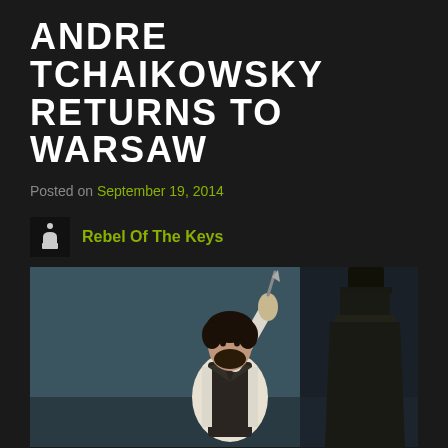ANDRE TCHAIKOWSKY RETURNS TO WARSAW
Posted on September 19, 2014
Rebel Of The Keys
[Figure (photo): A theatrical scene showing Adrian Erod playing Shylock, a man in period costume holding up a knife, with another figure in dark robes and top hat in the background]
Adrian Erod playing Shylock
Last summer (2013), in the stunning setting